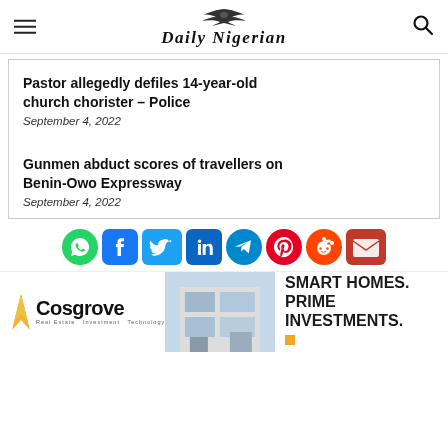Daily Nigerian
Pastor allegedly defiles 14-year-old church chorister – Police
September 4, 2022
Gunmen abduct scores of travellers on Benin-Owo Expressway
September 4, 2022
[Figure (infographic): Social media sharing icons: WhatsApp, Facebook, Twitter, LinkedIn, Telegram, Pinterest, Reddit, Email]
[Figure (infographic): Cosgrove Real Estate advertisement: logo on left, building photo in center, text 'SMART HOMES. PRIME INVESTMENTS.' on right]